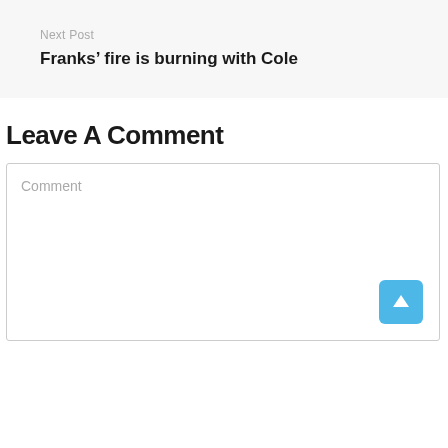Next Post
Franks’ fire is burning with Cole
Leave A Comment
Comment